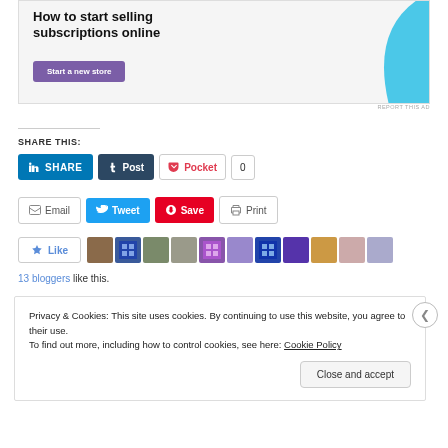[Figure (screenshot): Advertisement banner: 'How to start selling subscriptions online' with purple 'Start a new store' button and cyan decorative shape]
REPORT THIS AD
SHARE THIS:
[Figure (screenshot): Social sharing buttons row 1: LinkedIn SHARE, Tumblr Post, Pocket with count 0]
[Figure (screenshot): Social sharing buttons row 2: Email, Tweet, Pinterest Save, Print]
[Figure (screenshot): Like button with star icon and user avatar strip showing 13 bloggers]
13 bloggers like this.
Privacy & Cookies: This site uses cookies. By continuing to use this website, you agree to their use.
To find out more, including how to control cookies, see here: Cookie Policy
[Figure (screenshot): Close and accept button]